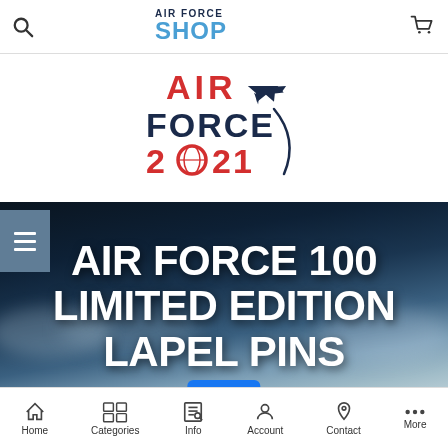AIR FORCE SHOP
[Figure (logo): Air Force 2021 logo with jet aircraft and circular arc design, red and navy blue text reading AIR FORCE 2021]
AIR FORCE 100 LIMITED EDITION LAPEL PINS
Home  Categories  Info  Account  Contact  More